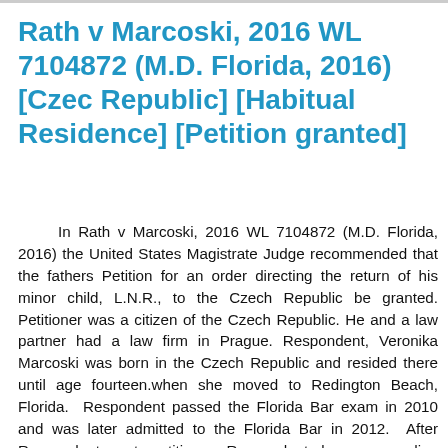Rath v Marcoski, 2016 WL 7104872 (M.D. Florida, 2016)[Czec Republic] [Habitual Residence] [Petition granted]
In Rath v Marcoski, 2016 WL 7104872 (M.D. Florida, 2016) the United States Magistrate Judge recommended that the fathers Petition for an order directing the return of his minor child, L.N.R., to the Czech Republic be granted. Petitioner was a citizen of the Czech Republic. He and a law partner had a law firm in Prague. Respondent, Veronika Marcoski was born in the Czech Republic and resided there until age fourteen.when she moved to Redington Beach, Florida.  Respondent passed the Florida Bar exam in 2010 and was later admitted to the Florida Bar in 2012.  After Respondent met petitioner Respondent began spending significant time in the Czech Republic. In April 2014, Petitioner and